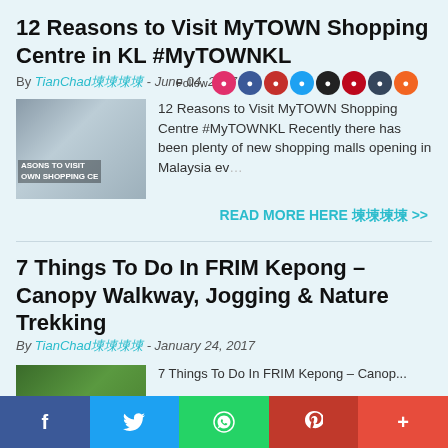12 Reasons to Visit MyTOWN Shopping Centre in KL #MyTOWNKL
By TianChad堜堜堜堜 - June 04, 2017
[Figure (screenshot): Thumbnail image of MyTOWN Shopping Centre with overlay text 'ASONS TO VISIT OWN SHOPPING CE']
12 Reasons to Visit MyTOWN Shopping Centre #MyTOWNKL Recently there has been plenty of new shopping malls opening in Malaysia ev…
READ MORE HERE 堜堜堜堜 >>
7 Things To Do In FRIM Kepong – Canopy Walkway, Jogging & Nature Trekking
By TianChad堜堜堜堜 - January 24, 2017
[Figure (photo): Thumbnail image of FRIM Kepong nature/forest scene]
f  Twitter  WhatsApp  Pinterest  More